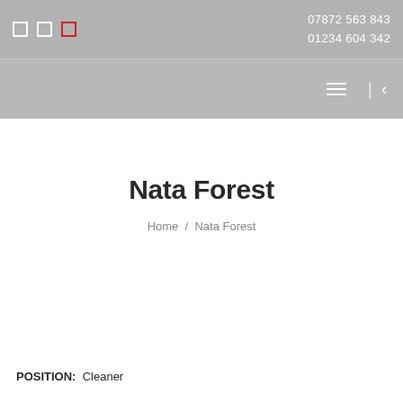07872 563 843
01234 604 342
[Figure (screenshot): Navigation header bar with hamburger menu and back arrow]
Nata Forest
Home / Nata Forest
POSITION: Cleaner